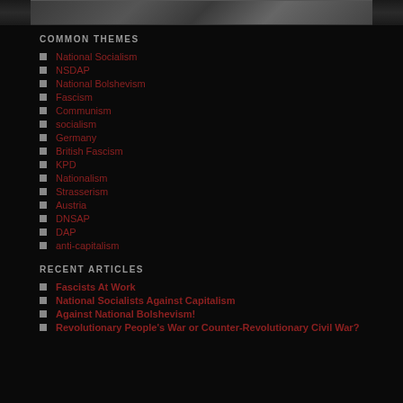[Figure (photo): Partial grayscale photo strip at the top of the page]
COMMON THEMES
National Socialism
NSDAP
National Bolshevism
Fascism
Communism
socialism
Germany
British Fascism
KPD
Nationalism
Strasserism
Austria
DNSAP
DAP
anti-capitalism
RECENT ARTICLES
Fascists At Work
National Socialists Against Capitalism
Against National Bolshevism!
Revolutionary People's War or Counter-Revolutionary Civil War?